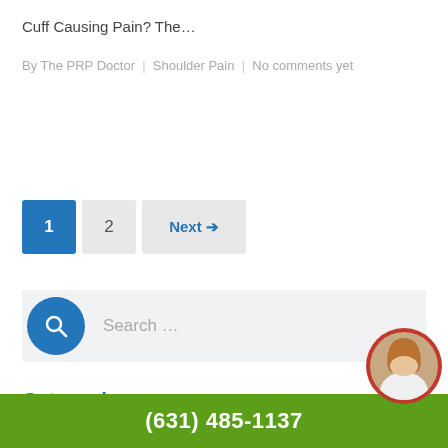Cuff Causing Pain? The…
By The PRP Doctor | Shoulder Pain | No comments yet
1  2  Next →
Search …
Categories
Back Pain
(631) 485-1137